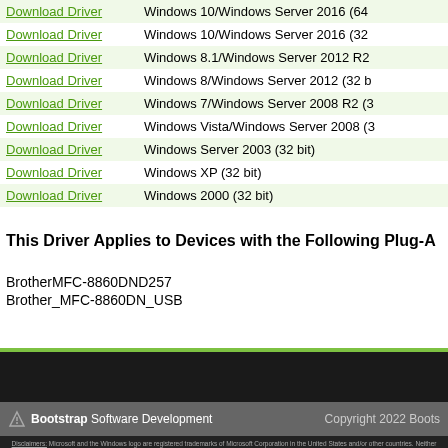| Link | OS |
| --- | --- |
| Download Driver | Windows 10/Windows Server 2016 (64... |
| Download Driver | Windows 10/Windows Server 2016 (32... |
| Download Driver | Windows 8.1/Windows Server 2012 R2... |
| Download Driver | Windows 8/Windows Server 2012 (32 b... |
| Download Driver | Windows 7/Windows Server 2008 R2 (3... |
| Download Driver | Windows Vista/Windows Server 2008 (3... |
| Download Driver | Windows Server 2003 (32 bit) |
| Download Driver | Windows XP (32 bit) |
| Download Driver | Windows 2000 (32 bit) |
This Driver Applies to Devices with the Following Plug-A...
BrotherMFC-8860DND257
Brother_MFC-8860DN_USB
Bootstrap Software Development | Copyright 2022 Boots...
Disclaimers: Microsoft and the Windows logo are registered trademarks of Microsoft Corporation in the United States and/or other countries. Neither Bootstrap Development, LLC nor DriverHive are associated with the Microsoft Corporation. DriverHive is a driver updater service that will scan your computer's installed devices, identify the best fitting drivers and provide them in an easy, convenient format. Individual drivers may be available on manufacturer websites at no charge.